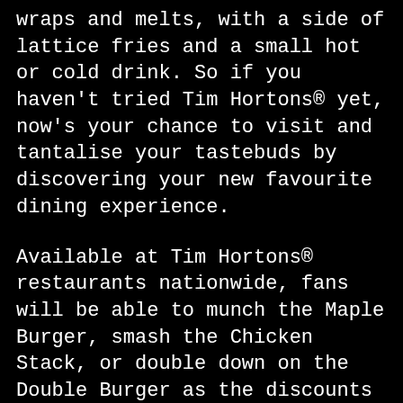wraps and melts, with a side of lattice fries and a small hot or cold drink. So if you haven't tried Tim Hortons® yet, now's your chance to visit and tantalise your tastebuds by discovering your new favourite dining experience.
Available at Tim Hortons® restaurants nationwide, fans will be able to munch the Maple Burger, smash the Chicken Stack, or double down on the Double Burger as the discounts include, but are not limited to:
Tims® Smoky Maple Burger Meal: 60% off
Tims® Bacon Double Burger Meal: 65% off
Tims® Crispy Chicken Stack Meal: 60% off
Vegan Wrap Meal: 57% off